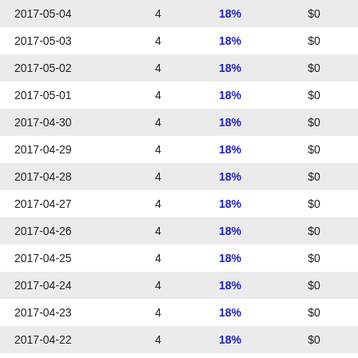| 2017-05-04 | 4 | 18% | $0 | -- |
| 2017-05-03 | 4 | 18% | $0 | -- |
| 2017-05-02 | 4 | 18% | $0 | -- |
| 2017-05-01 | 4 | 18% | $0 | -- |
| 2017-04-30 | 4 | 18% | $0 | -- |
| 2017-04-29 | 4 | 18% | $0 | -- |
| 2017-04-28 | 4 | 18% | $0 | -- |
| 2017-04-27 | 4 | 18% | $0 | -- |
| 2017-04-26 | 4 | 18% | $0 | -- |
| 2017-04-25 | 4 | 18% | $0 | -- |
| 2017-04-24 | 4 | 18% | $0 | -- |
| 2017-04-23 | 4 | 18% | $0 | -- |
| 2017-04-22 | 4 | 18% | $0 | -- |
| 2017-04-21 | 4 | 18% | $0 | -- |
| 2017-04-20 | 4 | 18% | $0 | -- |
| 2017-04-19 | 4 | 18% | $0 | -- |